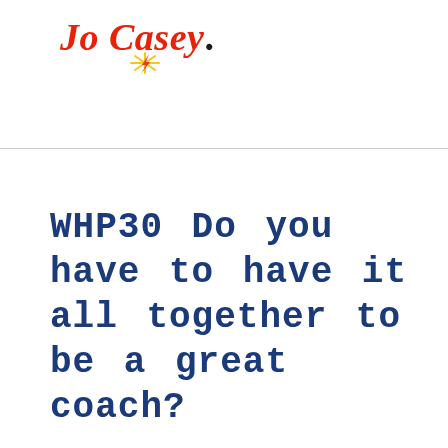[Figure (logo): Jo Casey logo in red italic serif font with a period and a small lightning bolt/spark graphic below]
WHP30 Do you have to have it all together to be a great coach?